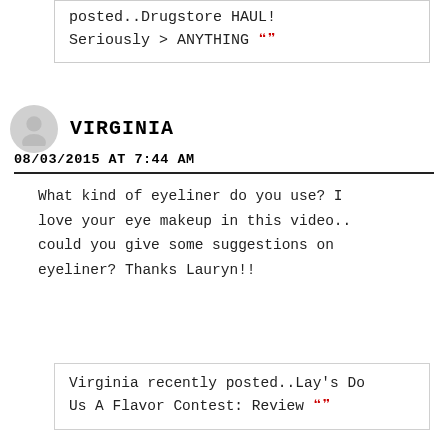posted..Drugstore HAUL!
Seriously > ANYTHING 🦇
VIRGINIA
08/03/2015 AT 7:44 AM
What kind of eyeliner do you use? I love your eye makeup in this video.. could you give some suggestions on eyeliner? Thanks Lauryn!!
Virginia recently posted..Lay's Do Us A Flavor Contest: Review 🦇
REPLY
LAURYN